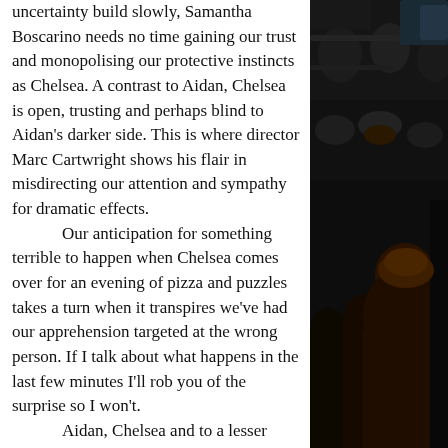uncertainty build slowly, Samantha Boscarino needs no time gaining our trust and monopolising our protective instincts as Chelsea. A contrast to Aidan, Chelsea is open, trusting and perhaps blind to Aidan's darker side. This is where director Marc Cartwright shows his flair in misdirecting our attention and sympathy for dramatic effects.

Our anticipation for something terrible to happen when Chelsea comes over for an evening of pizza and puzzles takes a turn when it transpires we've had our apprehension targeted at the wrong person. If I talk about what happens in the last few minutes I'll rob you of the surprise so I won't.

Aidan, Chelsea and to a lesser degree Elaine, Aidan's co-worker at the thrift store played by Ashley Jones, are three aspects of disconnect. Aidan is incapable to reach beyond online chats, insecure in
[Figure (photo): Dark photo of cinema audience shot from behind, showing silhouettes of seated viewers in a darkened theater with rows of seats visible.]